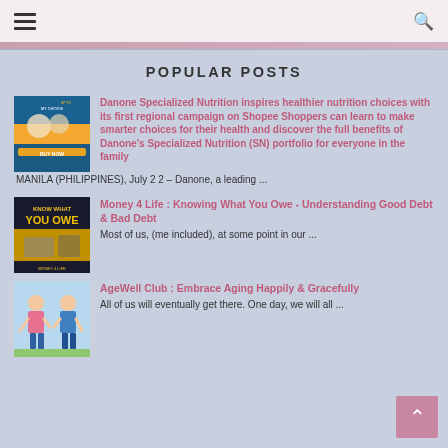Navigation bar with hamburger menu and search icon
POPULAR POSTS
[Figure (photo): Danone Specialized Nutrition advertisement thumbnail, blue background with product images]
Danone Specialized Nutrition inspires healthier nutrition choices with its first regional campaign on Shopee Shoppers can learn to make smarter choices for their health and discover the full benefits of Danone's Specialized Nutrition (SN) portfolio for everyone in the family
MANILA (PHILIPPINES), July 22 – Danone, a leading ...
[Figure (photo): Money 4 Life: Know What You Owe book cover, yellow background]
Money 4 Life : Knowing What You Owe - Understanding Good Debt & Bad Debt
Most of us, (me included), at some point in our ...
[Figure (photo): AgeWell Club illustration of elderly couple, light blue background]
AgeWell Club : Embrace Aging Happily & Gracefully
All of us will eventually get there. One day, we will all ...